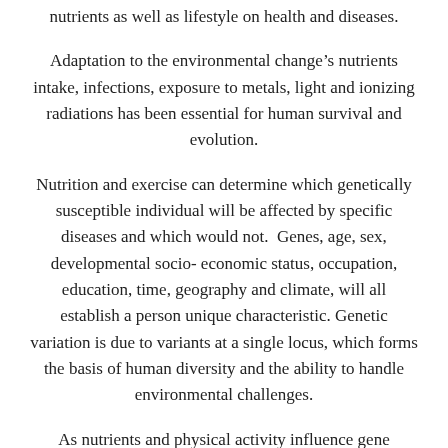nutrients as well as lifestyle on health and diseases.
Adaptation to the environmental change’s nutrients intake, infections, exposure to metals, light and ionizing radiations has been essential for human survival and evolution.
Nutrition and exercise can determine which genetically susceptible individual will be affected by specific diseases and which would not.  Genes, age, sex, developmental socio-economic status, occupation, education, time, geography and climate, will all establish a person unique characteristic. Genetic variation is due to variants at a single locus, which forms the basis of human diversity and the ability to handle environmental challenges.
As nutrients and physical activity influence gene expression, an appropriate diet and exercise can influence also the outcome of certain diseases.